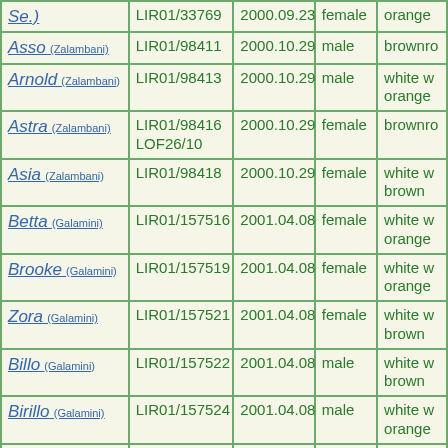| Name | Registration | Date | Sex | Color |
| --- | --- | --- | --- | --- |
| Se.) | LIR01/33769 | 2000.09.23 | female | orange |
| Asso (Zalambani) | LIR01/98411 | 2000.10.29 | male | brownro |
| Arnold (Zalambani) | LIR01/98413 | 2000.10.29 | male | white w orange |
| Astra (Zalambani) | LIR01/98416 LOF26/10 | 2000.10.29 | female | brownro |
| Asia (Zalambani) | LIR01/98418 | 2000.10.29 | female | white w brown |
| Betta (Galamini) | LIR01/157516 | 2001.04.08 | female | white w orange |
| Brooke (Galamini) | LIR01/157519 | 2001.04.08 | female | white w orange |
| Zora (Galamini) | LIR01/157521 | 2001.04.08 | female | white w brown |
| Billo (Galamini) | LIR01/157522 | 2001.04.08 | male | white w brown |
| Birillo (Galamini) | LIR01/157524 | 2001.04.08 | male | white w orange |
| Boby (Monaci) | LOI01/148413 | 2001.05.11 | male | white w orange |
| Argo (Monaci) | LOI01/148414 | 2001.05.11 | male | white w |